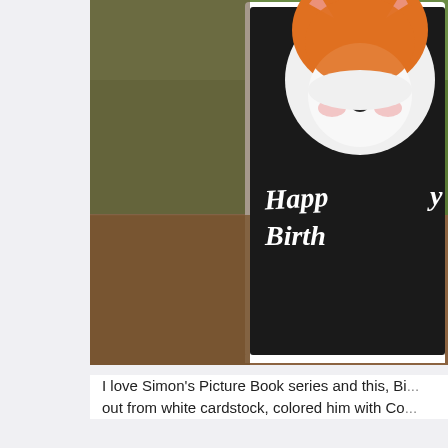[Figure (photo): A birthday card featuring an orange fox character with a round white face, small black nose, pink cheeks, and black dot eyes. The card has a dark/black background with white script text reading 'Happy Birth...' (partially cropped). The card is propped on a weathered wooden surface with green grass visible in the background.]
I love Simon's Picture Book series and this, Big... out from white cardstock, colored him with Co...